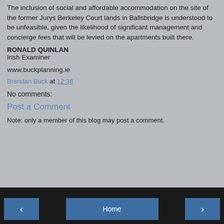The inclusion of social and affordable accommodation on the site of the former Jurys Berkeley Court lands in Ballsbridge is understood to be unfeasible, given the likelihood of significant management and concierge fees that will be levied on the apartments built there.
RONALD QUINLAN
Irish Examiner
www.buckplanning.ie
Brendan Buck at 12:38
No comments:
Post a Comment
Note: only a member of this blog may post a comment.
◂  Home  ▸